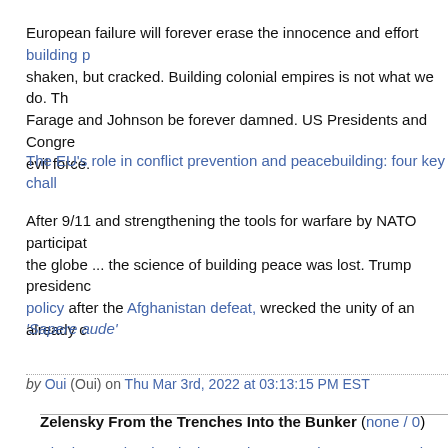European failure will forever erase the innocence and effort building [p...] shaken, but cracked. Building colonial empires is not what we do. Th... Farage and Johnson be forever damned. US Presidents and Congre... evil force.
The EU's role in conflict prevention and peacebuilding: four key chall...
After 9/11 and strengthening the tools for warfare by NATO participat... the globe ... the science of building peace was lost. Trump presidenc... policy after the Afghanistan defeat, wrecked the unity of an already c...
'Sapere aude'
by Oui (Oui) on Thu Mar 3rd, 2022 at 03:13:15 PM EST
Zelensky From the Trenches Into the Bunker (none / 0)
Ukraine's Zelenskyy invites Putin to meet in war-torn Donbas | DW...